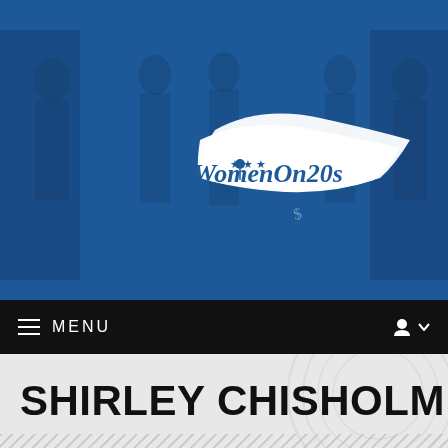[Figure (screenshot): WomenOn20s website hero banner: blue-tinted historical photo of women with a white banner/logo reading 'WomenOn20s' with stars and decorative script elements]
MENU
SHIRLEY CHISHOLM